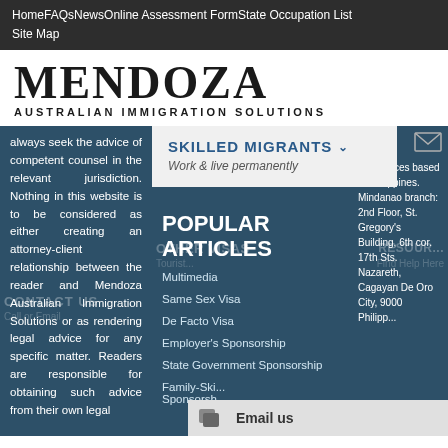Home  FAQs  News  Online Assessment Form  State Occupation List  Site Map
MENDOZA
AUSTRALIAN IMMIGRATION SOLUTIONS
always seek the advice of competent counsel in the relevant jurisdiction. Nothing in this website is to be considered as either creating an attorney-client relationship between the reader and Mendoza Australian Immigration Solutions or as rendering legal advice for any specific matter. Readers are responsible for obtaining such advice from their own legal
SKILLED MIGRANTS  Work & live permanently
POPULAR ARTICLES
Multimedia
Same Sex Visa
De Facto Visa
Employer's Sponsorship
State Government Sponsorship
Family-Ski... Sponsorsh...
With offices based in Philippines. Mindanao branch: 2nd Floor, St. Gregory's Building, 6th cor. 17th Sts. Nazareth, Cagayan De Oro City, 9000 Philipp...
Email us